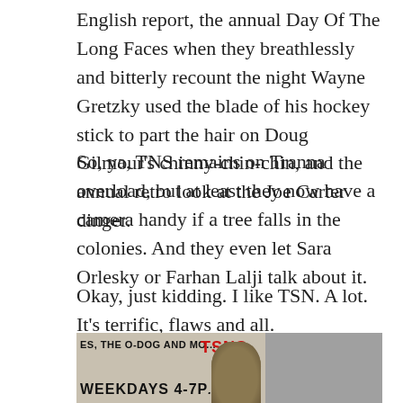English report, the annual Day Of The Long Faces when they breathlessly and bitterly recount the night Wayne Gretzky used the blade of his hockey stick to part the hair on Doug Gilmour's chinny-chin-chin, and the annual retro look at the Joe Carter dinger.
So, ya, TNS remains on Tranna overload, but at least they now have a camera handy if a tree falls in the colonies. And they even let Sara Orlesky or Farhan Lalji talk about it.
Okay, just kidding. I like TSN. A lot. It's terrific, flaws and all.
[Figure (photo): Partial view of a TSN broadcast set with text reading 'WEEKDAYS 4-7P' and TSN logo visible, along with a person wearing a hat partially visible]